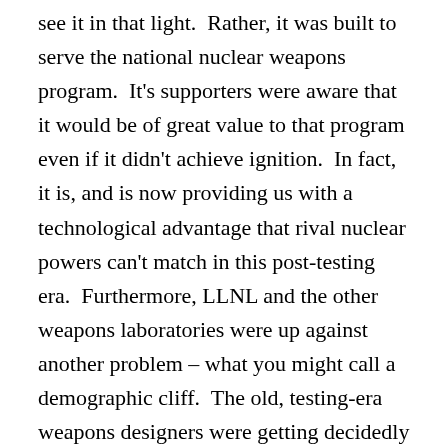see it in that light.  Rather, it was built to serve the national nuclear weapons program.  It's supporters were aware that it would be of great value to that program even if it didn't achieve ignition.  In fact, it is, and is now providing us with a technological advantage that rival nuclear powers can't match in this post-testing era.  Furthermore, LLNL and the other weapons laboratories were up against another problem – what you might call a demographic cliff.  The old, testing-era weapons designers were getting decidedly long in the tooth, and it was necessary to find some way to attract new talent.  A facility like the NIF, capable of exploring issues in inertial fusion energy, astrophysics, and other non-weapons-related areas of high energy density physics, would